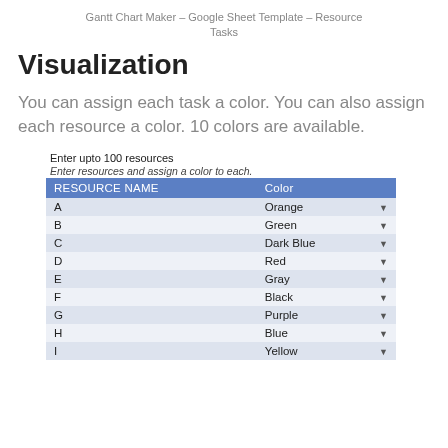Gantt Chart Maker – Google Sheet Template – Resource Tasks
Visualization
You can assign each task a color. You can also assign each resource a color. 10 colors are available.
Enter upto 100 resources
Enter resources and assign a color to each.
| RESOURCE NAME | Color |
| --- | --- |
| A | Orange |
| B | Green |
| C | Dark Blue |
| D | Red |
| E | Gray |
| F | Black |
| G | Purple |
| H | Blue |
| I | Yellow |